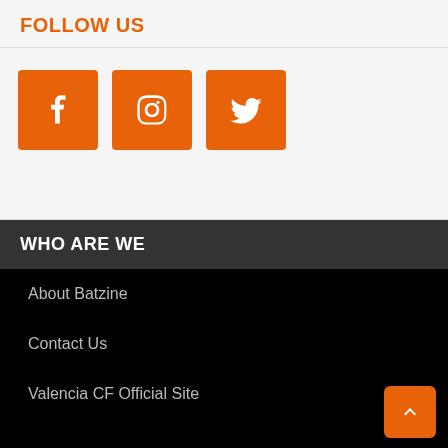FOLLOW US
[Figure (illustration): Three orange square social media icon buttons: Facebook (f), Instagram (camera), Twitter (bird)]
WHO ARE WE
About Batzine
Contact Us
Valencia CF Official Site